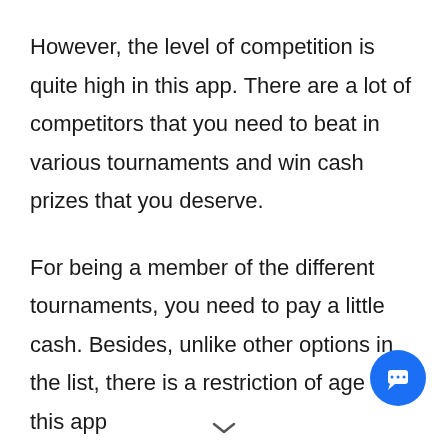However, the level of competition is quite high in this app. There are a lot of competitors that you need to beat in various tournaments and win cash prizes that you deserve.
For being a member of the different tournaments, you need to pay a little cash. Besides, unlike other options in the list, there is a restriction of age that this app
[Figure (illustration): Blue circular chat/message button in bottom-right corner]